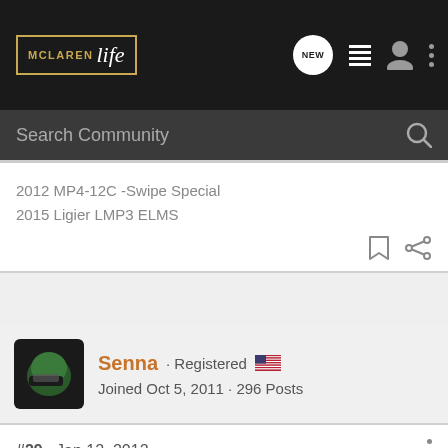McLaren Life · Search Community
2012 MP4-12C -Swipe Special
2015 Ligier LMP3 ELMS
Senna · Registered 🇺🇸
Joined Oct 5, 2011 · 296 Posts
#29 · Jan 12, 2012
Marin 12C said: ⊕
When Antony Sheriff was at the SF dealership, he said that the tires were engineered specifically for the 12C and that "they could have